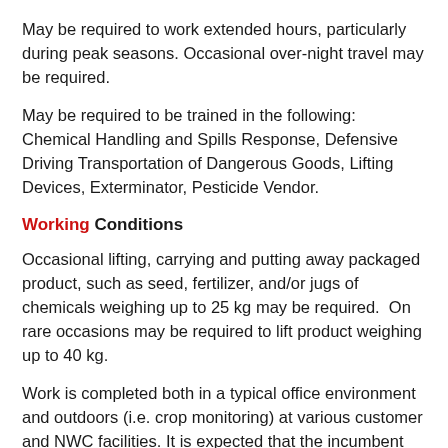May be required to work extended hours, particularly during peak seasons. Occasional over-night travel may be required.
May be required to be trained in the following: Chemical Handling and Spills Response, Defensive Driving Transportation of Dangerous Goods, Lifting Devices, Exterminator, Pesticide Vendor.
Working Conditions
Occasional lifting, carrying and putting away packaged product, such as seed, fertilizer, and/or jugs of chemicals weighing up to 25 kg may be required.  On rare occasions may be required to lift product weighing up to 40 kg.
Work is completed both in a typical office environment and outdoors (i.e. crop monitoring) at various customer and NWC facilities. It is expected that the incumbent will spend approximately 80% of the time, on the road and with customers. Travelling may include driving on gravel roads for extended periods; driving in occasional storm-like conditions.